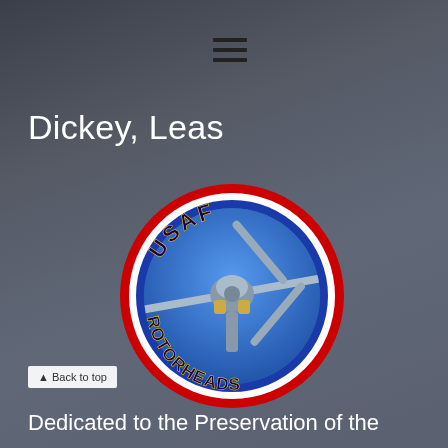[Figure (screenshot): Background photo showing flags including a POW/MIA flag and blue US Air Force flag, dimmed/darkened overlay]
[Figure (other): Hamburger menu icon (three horizontal lines) in dark color, positioned near top center]
Dickey, Leas
[Figure (logo): USAF Rotorheads oval logo: blue oval with red and white border rings, text 'USAF' at top and 'ROTORHEADS' at bottom in gold/dark lettering, center image of a helicopter/drone rotor system viewed from below against a blue sky]
▲ Back to top
Dedicated to the Preservation of the